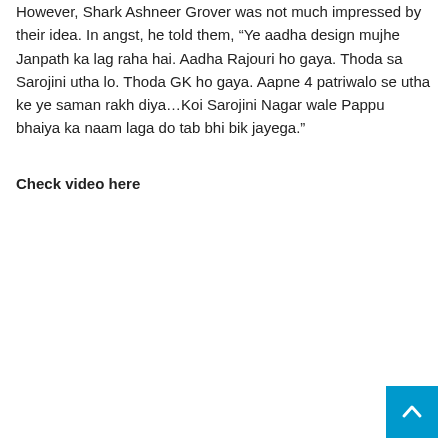However, Shark Ashneer Grover was not much impressed by their idea. In angst, he told them, “Ye aadha design mujhe Janpath ka lag raha hai. Aadha Rajouri ho gaya. Thoda sa Sarojini utha lo. Thoda GK ho gaya. Aapne 4 patriwalo se utha ke ye saman rakh diya…Koi Sarojini Nagar wale Pappu bhaiya ka naam laga do tab bhi bik jayega.”
Check video here